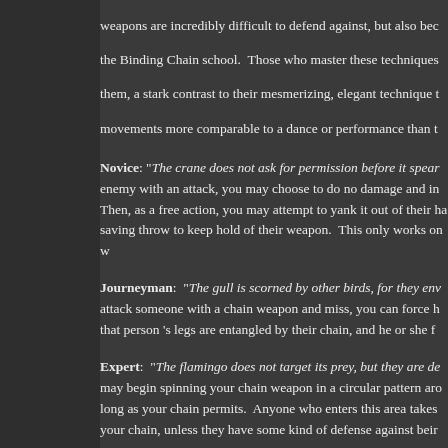weapons are incredibly difficult to defend against, but also because of the Binding Chain school. Those who master these techniques often find them, a stark contrast to their mesmerizing, elegant technique that makes movements more comparable to a dance or performance than t
Novice: "The crane does not ask for permission before it spear..." enemy with an attack, you may choose to do no damage and instead... Then, as a free action, you may attempt to yank it out of their ha... saving throw to keep hold of their weapon. This only works on w...
Journeyman: "The gull is scorned by other birds, for they env..." attack someone with a chain weapon and miss, you can force h... that person's legs are entangled by their chain, and he or she f...
Expert: "The flamingo does not target its prey, but they are de..." may begin spinning your chain weapon in a circular pattern aro... long as your chain permits. Anyone who enters this area takes... your chain, unless they have some kind of defense against beir...
Master: "The kingfisher never misses." When making an attac... choose two targets. Both targets should roll their 1d20 and dar... by you. You may then choose who to attack. The target you ch... damage roll they rolled before you.